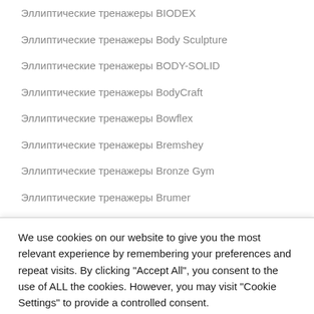Эллиптические тренажеры BIODEX
Эллиптические тренажеры Body Sculpture
Эллиптические тренажеры BODY-SOLID
Эллиптические тренажеры BodyCraft
Эллиптические тренажеры Bowflex
Эллиптические тренажеры Bremshey
Эллиптические тренажеры Bronze Gym
Эллиптические тренажеры Brumer
Эллиптические тренажеры Carbon Fitness
Эллиптические тренажеры CardioPower
We use cookies on our website to give you the most relevant experience by remembering your preferences and repeat visits. By clicking "Accept All", you consent to the use of ALL the cookies. However, you may visit "Cookie Settings" to provide a controlled consent.
Cookie Settings
Accept All